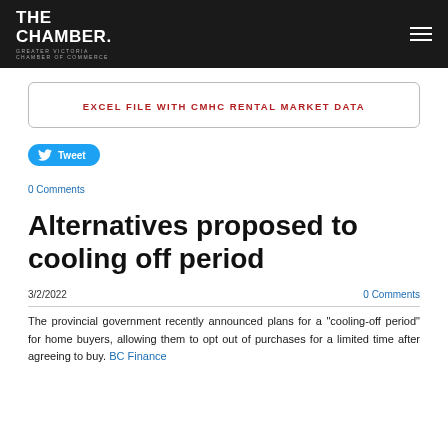THE CHAMBER. GREATER VICTORIA CHAMBER OF COMMERCE
EXCEL FILE WITH CMHC RENTAL MARKET DATA
[Figure (other): Twitter Tweet button (blue pill button with bird icon)]
0 Comments
Alternatives proposed to cooling off period
3/2/2022
0 Comments
The provincial government recently announced plans for a "cooling-off period" for home buyers, allowing them to opt out of purchases for a limited time after agreeing to buy. BC Finance